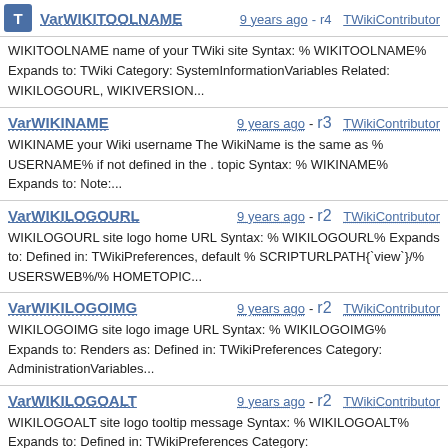VarWIKITOOLNAME 9 years ago - r4 TWikiContributor
WIKITOOLNAME name of your TWiki site Syntax: % WIKITOOLNAME%
Expands to: TWiki Category: SystemInformationVariables Related:
WIKILOGOURL, WIKIVERSION...
VarWIKINAME 9 years ago - r3 TWikiContributor
WIKINAME your Wiki username The WikiName is the same as %
USERNAME% if not defined in the . topic Syntax: % WIKINAME%
Expands to: Note:...
VarWIKILOGOURL 9 years ago - r2 TWikiContributor
WIKILOGOURL site logo home URL Syntax: % WIKILOGOURL%
Expands to: Defined in: TWikiPreferences, default %
SCRIPTURLPATH{`view`}/% USERSWEB%/% HOMETOPIC...
VarWIKILOGOIMG 9 years ago - r2 TWikiContributor
WIKILOGOIMG site logo image URL Syntax: % WIKILOGOIMG%
Expands to: Renders as: Defined in: TWikiPreferences Category:
AdministrationVariables...
VarWIKILOGOALT 9 years ago - r2 TWikiContributor
WIKILOGOALT site logo tooltip message Syntax: % WIKILOGOALT%
Expands to: Defined in: TWikiPreferences Category:
AdministrationVariables, SystemInformationVar...
VarWIKIHOMEURL 9 years ago - r5 TWikiContributor